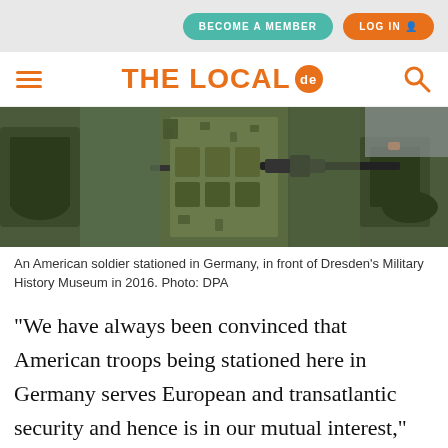THE LOCAL de
[Figure (photo): Close-up photo of an American soldier in camouflage uniform with tactical vest, holding a rifle, in front of military equipment.]
An American soldier stationed in Germany, in front of Dresden's Military History Museum in 2016. Photo: DPA
“We have always been convinced that American troops being stationed here in Germany serves European and transatlantic security and hence is in our mutual interest,” German government spokesman Steffen Seibert told reporters.